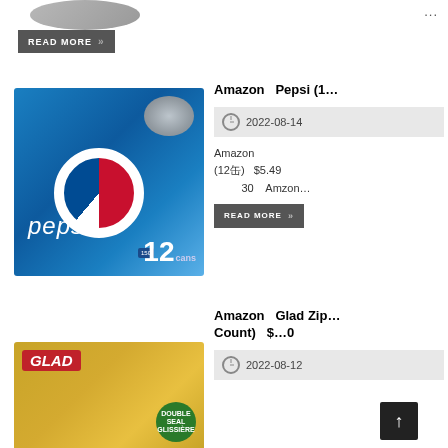[Figure (photo): Partial product image at top of page (cropped, appears to be a dark circular product lid or coffee pod)]
...
READ MORE »
[Figure (photo): Pepsi 12-can box with blue background showing Pepsi logo and a soda can on top. Text on box: pepsi, 150, 12 cans]
Amazon    Pepsi (1…
2022-08-14
Amazon
(12缶)    $5.49
    30    Amzon
READ MORE »
Amazon    Glad Zip… Count)    $…0
2022-08-12
[Figure (photo): Glad zip bags box with yellow/gold background, red Glad logo, and green Double Seal badge]